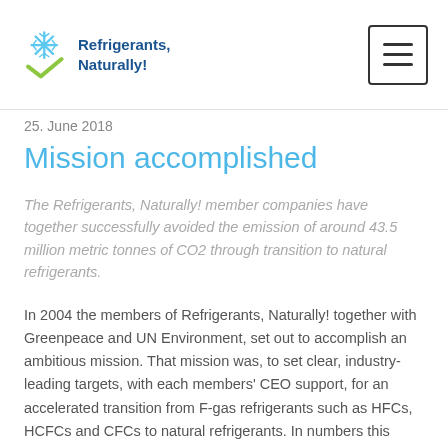Refrigerants, Naturally!
25. June 2018
Mission accomplished
The Refrigerants, Naturally! member companies have together successfully avoided the emission of around 43.5 million metric tonnes of CO2 through transition to natural refrigerants.
In 2004 the members of Refrigerants, Naturally! together with Greenpeace and UN Environment, set out to accomplish an ambitious mission. That mission was, to set clear, industry-leading targets, with each members' CEO support, for an accelerated transition from F-gas refrigerants such as HFCs, HCFCs and CFCs to natural refrigerants. In numbers this meant that the